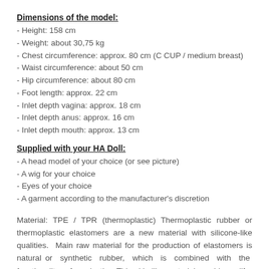Dimensions of the model:
- Height: 158 cm
- Weight: about 30,75 kg
- Chest circumference: approx. 80 cm (C CUP / medium breast)
- Waist circumference: about 50 cm
- Hip circumference: about 80 cm
- Foot length: approx. 22 cm
- Inlet depth vagina: approx. 18 cm
- Inlet depth anus: approx. 16 cm
- Inlet depth mouth: approx. 13 cm
Supplied with your HA Doll:
- A head model of your choice (or see picture)
- A wig for your choice
- Eyes of your choice
- A garment according to the manufacturer's discretion
Material: TPE / TPR (thermoplastic) Thermoplastic rubber or thermoplastic elastomers are a new material with silicone-like qualities. Main raw material for the production of elastomers is natural or synthetic rubber, which is combined with the functionality of a plastic. This skin-like material provides a life-like feel, thus ensuring